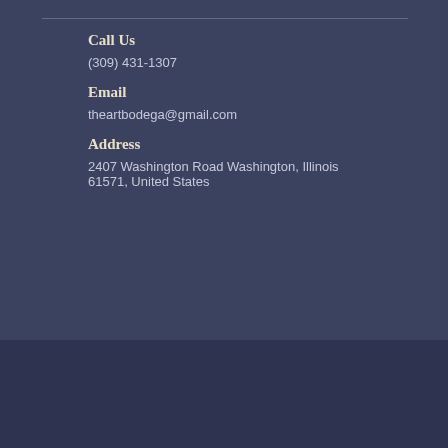Call Us
(309) 431-1307
Email
theartbodega@gmail.com
Address
2407 Washington Road Washington, Illinois 61571, United States
Accessibility
Privacy Policy
Terms and Conditions